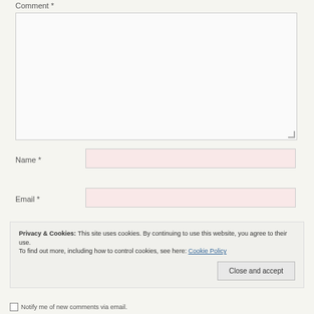Comment *
Name *
Email *
Privacy & Cookies: This site uses cookies. By continuing to use this website, you agree to their use. To find out more, including how to control cookies, see here: Cookie Policy
Close and accept
Notify me of new comments via email.